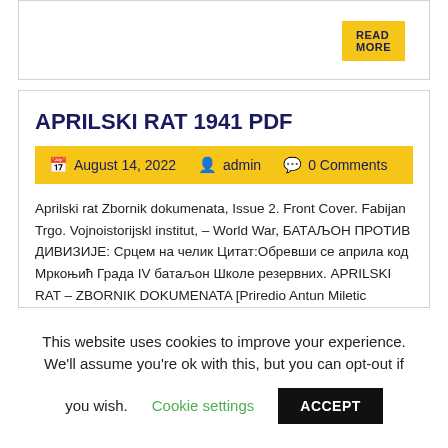APRILSKI RAT 1941 PDF
August 14, 2022  admin  0 Comments
Aprilski rat Zbornik dokumenata, Issue 2. Front Cover. Fabijan Trgo. Vojnoistorijskl institut, – World War, БАТАЉОН ПРОТИВ ДИВИЗИЈЕ: Срцем на челик Цитат:Обревши се априла код Мркоњић Града IV батаљон Школе резервних. APRILSKI RAT – ZBORNIK DOKUMENATA [Priredio Antun Miletic Odgovorni urednik Fabijan Trgo] on *FREE* shipping on qualifying offers. Author: Gar Dazshura Country: Croatia Language: [...]
This website uses cookies to improve your experience. We'll assume you're ok with this, but you can opt-out if you wish.
Cookie settings
ACCEPT